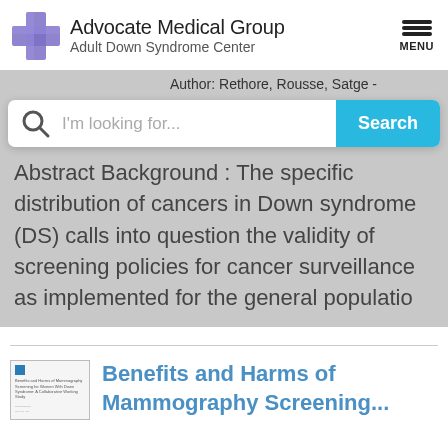Advocate Medical Group Adult Down Syndrome Center
Author: Rethore, Rousse, Satge -
[Figure (screenshot): Search bar with magnifying glass icon, placeholder text 'I'm looking for...', and a blue 'Search' button]
Abstract Background : The specific distribution of cancers in Down syndrome (DS) calls into question the validity of screening policies for cancer surveillance as implemented for the general populatio
Benefits and Harms of Mammography Screening...